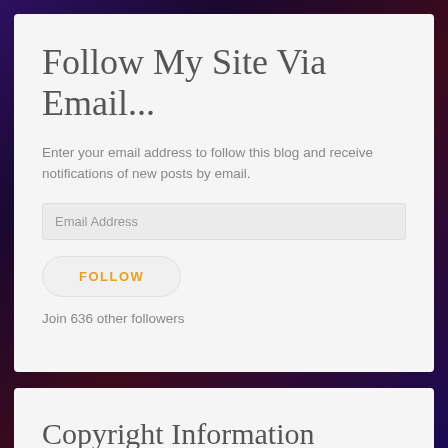Follow My Site Via Email...
Enter your email address to follow this blog and receive notifications of new posts by email.
Email Address
FOLLOW
Join 636 other followers
Copyright Information
Unauthorized use and/or duplication of material (including